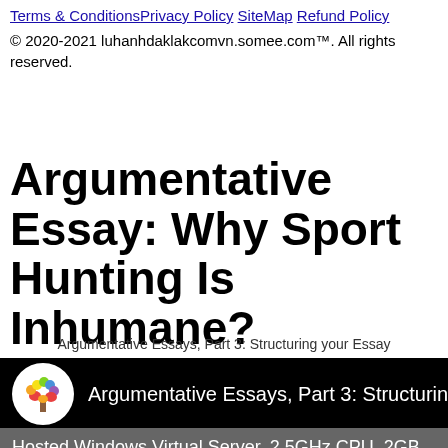Terms & Conditions | Privacy Policy | SiteMap | Refund Policy
© 2020-2021 luhanhdaklakcomvn.somee.com™. All rights reserved.
Argumentative Essay: Why Sport Hunting Is Inhumane?
Argumentative Essays, Part 3: Structuring your Essay
[Figure (screenshot): Video thumbnail with black background, circular logo of colorful tree on left, and text 'Argumentative Essays, Part 3: Structuring your E' in white]
Hosted Windows Virtual Server. 2.5GHz CPU, 2GB RAM, 60GB SSD. Try it now for $1!